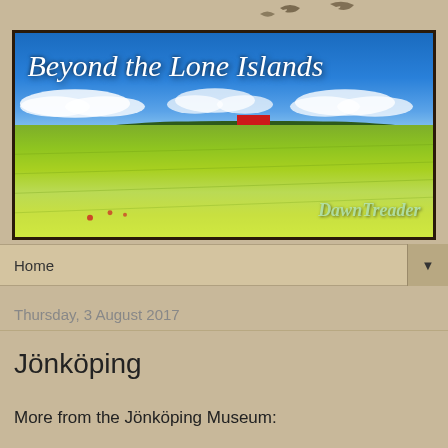[Figure (illustration): Blog header banner for 'Beyond the Lone Islands' showing a wide golden wheat field under a bright blue sky with white clouds, a red barn and treeline on the horizon. The blog title 'Beyond the Lone Islands' is written in white italic serif font at the top left. 'DawnTreader' watermark appears in italic at the bottom right. The banner is framed with a dark border. Two bird silhouettes appear above the banner on a tan/beige background.]
Home
Thursday, 3 August 2017
Jönköping
More from the Jönköping Museum: